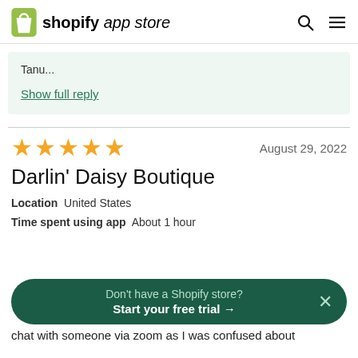shopify app store
Tanu...
Show full reply
★★★★★   August 29, 2022
Darlin' Daisy Boutique
Location   United States
Time spent using app   About 1 hour
Don't have a Shopify store? Start your free trial →
chat with someone via zoom as I was confused about